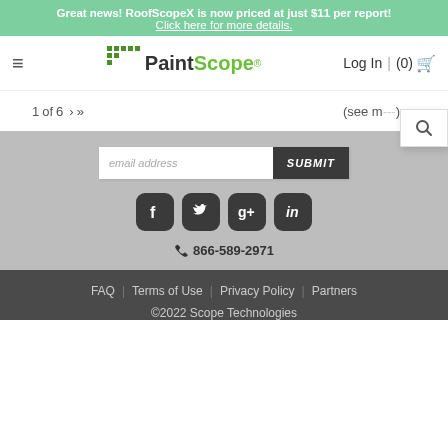Great news! RoofScopeX is now priced at just $11 per report! Click here for more details.
[Figure (logo): PaintScope logo with green dots and green 'Scope' text]
Log In | (0)
1 of 6 > >> (see more)
[Figure (screenshot): Email address input with SUBMIT button and social media icons for Facebook, Twitter, Google+, LinkedIn, and phone number 866-589-2971]
FAQ | Terms of Use | Privacy Policy | Partners ©2022 Scope Technologies